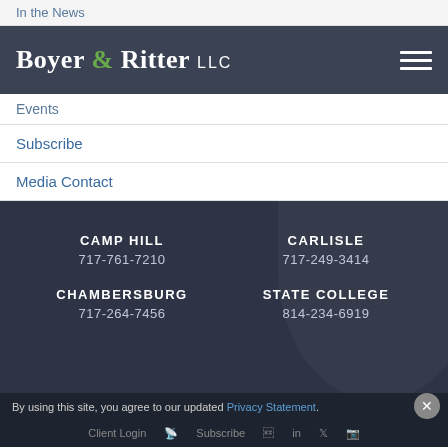In the News
[Figure (logo): Boyer & Ritter LLC logo in white serif font with green ampersand, on dark navy background with hamburger menu icon]
Events
Subscribe
Media Contact
CAMP HILL
717-761-7210
CARLISLE
717-249-3414
CHAMBERSBURG
717-264-7456
STATE COLLEGE
814-234-6919
By using this site, you agree to our updated Privacy Statement.
Client Login | Subscribe